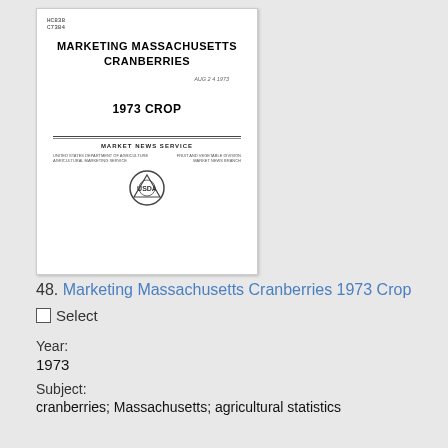[Figure (screenshot): Thumbnail of document cover page for 'Marketing Massachusetts Cranberries 1973 Crop' showing USDA Market News Service branding and logo]
48. Marketing Massachusetts Cranberries 1973 Crop
Select
Year:
1973
Subject:
cranberries; Massachusetts; agricultural statistics